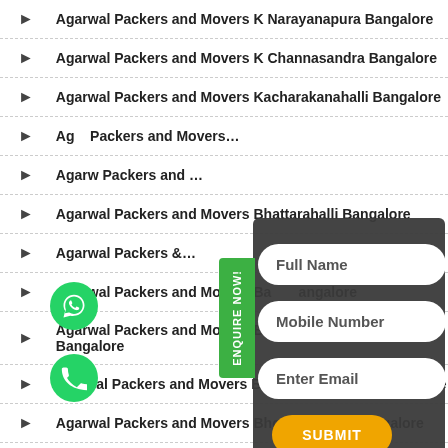Agarwal Packers and Movers K Narayanapura Bangalore
Agarwal Packers and Movers K Channasandra Bangalore
Agarwal Packers and Movers Kacharakanahalli Bangalore
Agarwal Packers and Movers [partial]
Agarwal Packers and Movers [partial]
Agarwal Packers and Movers Bhattarahalli Bangalore
Agarwal Packers and Movers [partial]
Agarwal Packers and Movers Ba...Bangalore
Agarwal Packers and Movers Bank Avenue Colony Bangalore
Agarwal Packers and Movers Bhadrappa Layout Bangalore
Agarwal Packers and Movers Bhoopasandra Bangalore
Agarwal Packers and Movers Bhuvaneshwari Nagar Bangalore
[Figure (screenshot): Enquire Now form popup with Full Name, Mobile Number, Enter Email fields and an orange SUBMIT button on a dark grey background]